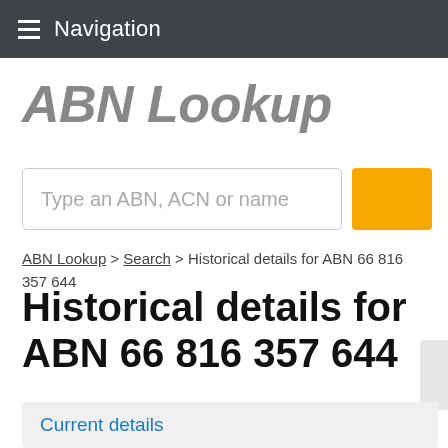Navigation
ABN Lookup
Type an ABN, ACN or name
ABN Lookup > Search > Historical details for ABN 66 816 357 644
Historical details for ABN 66 816 357 644
Current details